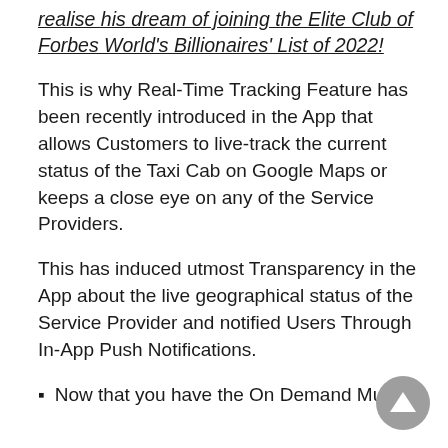realise his dream of joining the Elite Club of Forbes World's Billionaires' List of 2022!
This is why Real-Time Tracking Feature has been recently introduced in the App that allows Customers to live-track the current status of the Taxi Cab on Google Maps or keeps a close eye on any of the Service Providers.
This has induced utmost Transparency in the App about the live geographical status of the Service Provider and notified Users Through In-App Push Notifications.
Now that you have the On Demand Multi